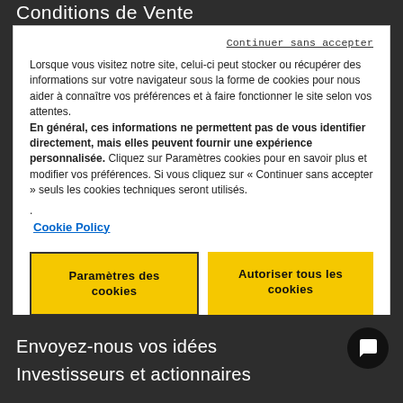Conditions de Vente
Continuer sans accepter
Lorsque vous visitez notre site, celui-ci peut stocker ou récupérer des informations sur votre navigateur sous la forme de cookies pour nous aider à connaître vos préférences et à faire fonctionner le site selon vos attentes. En général, ces informations ne permettent pas de vous identifier directement, mais elles peuvent fournir une expérience personnalisée. Cliquez sur Paramètres cookies pour en savoir plus et modifier vos préférences. Si vous cliquez sur « Continuer sans accepter » seuls les cookies techniques seront utilisés.
Cookie Policy
Paramètres des cookies
Autoriser tous les cookies
Envoyez-nous vos idées
Investisseurs et actionnaires